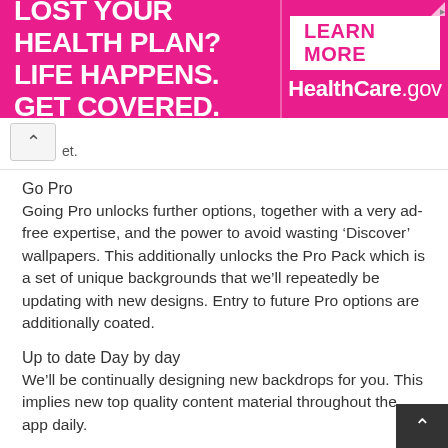[Figure (infographic): Pink advertisement banner: 'LOST YOUR HEALTH PLAN? LIFE HAPPENS. GET COVERED.' with 'LEARN MORE HealthCare.gov' button on the right side.]
et.
Go Pro
Going Pro unlocks further options, together with a very ad-free expertise, and the power to avoid wasting ‘Discover’ wallpapers. This additionally unlocks the Pro Pack which is a set of unique backgrounds that we’ll repeatedly be updating with new designs. Entry to future Pro options are additionally coated.
Up to date Day by day
We’ll be continually designing new backdrops for you. This implies new top quality content material throughout the app daily.
Comply with Us on Google+: http://plus.backdrops.io